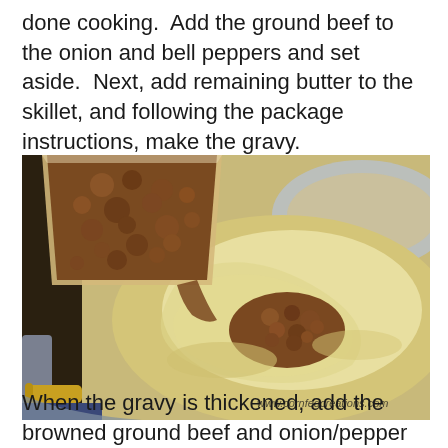done cooking.  Add the ground beef to the onion and bell peppers and set aside.  Next, add remaining butter to the skillet, and following the package instructions, make the gravy.
[Figure (photo): Photo of ground beef being poured from a clear plastic container into a skillet containing creamy white gravy. The beef is partially poured in, visible in both the container and as a mound in the center of the gravy. The skillet appears to be stainless steel. A watermark reads www.cornfedcreations.com.]
When the gravy is thickened, add the browned ground beef and onion/pepper mixture back to the skillet.  Stir gently to